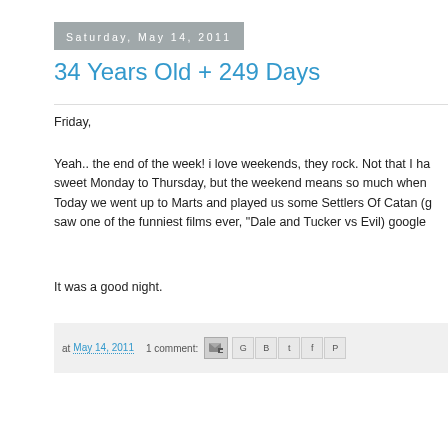Saturday, May 14, 2011
34 Years Old + 249 Days
Friday,
Yeah.. the end of the week! i love weekends, they rock. Not that I ha... sweet Monday to Thursday, but the weekend means so much when... Today we went up to Marts and played us some Settlers Of Catan (g... saw one of the funniest films ever, "Dale and Tucker vs Evil) google...
It was a good night.
at May 14, 2011   1 comment: